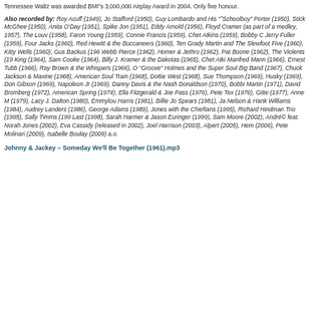Tennessee Waltz was awarded BMI’s 3,000,000 Airplay Award in 2004. Only five honour.
Also recorded by: Roy Acuff (1949), Jo Stafford (1950), Guy Lombardo and His “˜Schoolboy” Porter (1950), Stick McGhee (1950), Anita O’Day (1951), Spike Jon (1951), Eddy Arnold (1956), Floyd Cramer (as part of a medley, 1957), The Louv (1958), Faron Young (1959), Connie Francis (1959), Chet Atkins (1959), Bobby C Jerry Fuller (1959), Four Jacks (1960), Red Hewitt & the Buccaneers (1960), Ten Grady Martin and The Slewfoot Five (1960), Kitty Wells (1960), Gus Backus (196 Webb Pierce (1962), Homer & Jethro (1962), Pat Boone (1962), The Violents (19 King (1964), Sam Cooke (1964), Billy J. Kramer & the Dakotas (1965), Chet Atki Manfred Mann (1966), Ernest Tubb (1966), Ray Brown & the Whispers (1966), O “Groove” Holmes and the Super Soul Big Band (1967), Chuck Jackson & Maxine (1968), American Soul Train (1968), Dottie West (1968), Sue Thompson (1969), Husky (1969), Don Gibson (1969), Napoleon Jr (1969), Danny Davis & the Nash Donaldson (1970), Bobbi Martin (1971), David Bromberg (1972), American Spring (1974), Ella Fitzgerald & Joe Pass (1976), Pete Tex (1976), Gitte (1977), Anne M (1979), Lacy J. Dalton (1980), Emmylou Harris (1981), Billie Jo Spears (1981), Ja Nelson & Hank Williams (1984), Audrey Landers (1986), George Adams (1989), Jones with the Chieftans (1995), Richard Hindman Trio (1995), Sally Timms (199 Last (1998), Sarah Harmer & Jason Euringer (1999), Sam Moore (2002), André© feat. Norah Jones (2002), Eva Cassidy (released in 2002), Joel Harrison (2003), Alpert (2005), Hem (2006), Pete Molinari (2009), Isabelle Boulay (2009) a.o.
Johnny & Jackey – Someday We'll Be Together (1961).mp3